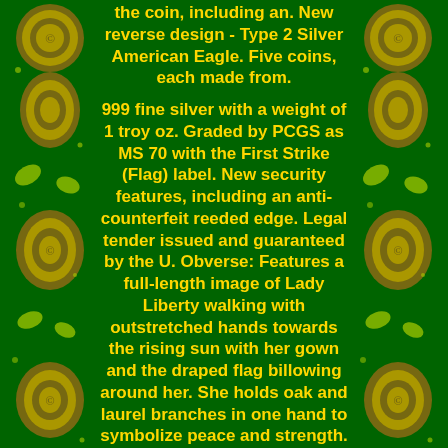[Figure (illustration): Green background with decorative yellow/green embossed coin or medallion border elements on left and right sides]
the coin, including an. New reverse design - Type 2 Silver American Eagle. Five coins, each made from.
999 fine silver with a weight of 1 troy oz. Graded by PCGS as MS 70 with the First Strike (Flag) label. New security features, including an anti-counterfeit reeded edge. Legal tender issued and guaranteed by the U. Obverse: Features a full-length image of Lady Liberty walking with outstretched hands towards the rising sun with her gown and the draped flag billowing around her. She holds oak and laurel branches in one hand to symbolize peace and strength. Inscriptions: "IN GOD WE TRUST, " "LIBERTY, " and the year of mintage. Reverse: Displays a bald eagle mid-flight, carrying an oak branch in its talons. Inscriptions: "UNITED STATES OF AMERICA", "ONE DOLLAR", "1 OZ", "FINE SILVER", and "E PLURIBUS UNUM".
Secure this Lot of 5. 2021 1 oz Silver American Eagle Type 2 PCGS MS 70 FS (Flag Label). To start a strong new American Silver Eagle coin collection.